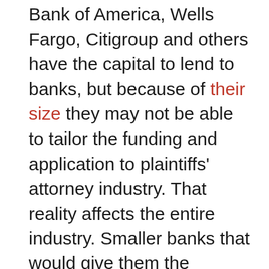like J.P. Morgan Chase, Bank of America, Wells Fargo, Citigroup and others have the capital to lend to banks, but because of their size they may not be able to tailor the funding and application to plaintiffs' attorney industry. That reality affects the entire industry. Smaller banks that would give them the specific attention a plaintiffs' attorney but the amount they would be able to give is capped. In some cases plaintiffs' attorneys litigate they would need hundreds of thousands of dollars or millions because the counter parties maybe a well-financed entity. So its important not only for the plaintiffs' law practice to have funding, it is important to their client because it can determine how strong your case can be and they type of pressure you can apply.